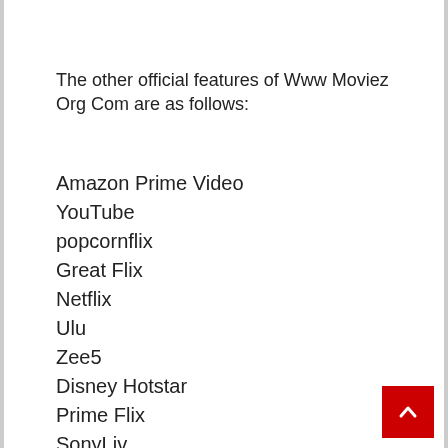The other official features of Www Moviez Org Com are as follows:
Amazon Prime Video
YouTube
popcornflix
Great Flix
Netflix
Ulu
Zee5
Disney Hotstar
Prime Flix
SonyLiv
Sony Crunch